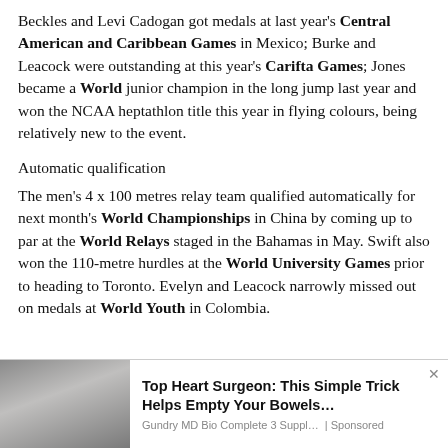Beckles and Levi Cadogan got medals at last year's Central American and Caribbean Games in Mexico; Burke and Leacock were outstanding at this year's Carifta Games; Jones became a World junior champion in the long jump last year and won the NCAA heptathlon title this year in flying colours, being relatively new to the event.
Automatic qualification
The men's 4 x 100 metres relay team qualified automatically for next month's World Championships in China by coming up to par at the World Relays staged in the Bahamas in May. Swift also won the 110-metre hurdles at the World University Games prior to heading to Toronto. Evelyn and Leacock narrowly missed out on medals at World Youth in Colombia.
[Figure (photo): Advertisement banner: photo of a hand holding a glass with a white liquid, beside text 'Top Heart Surgeon: This Simple Trick Helps Empty Your Bowels...' from Gundry MD Bio Complete 3 Suppl... | Sponsored]